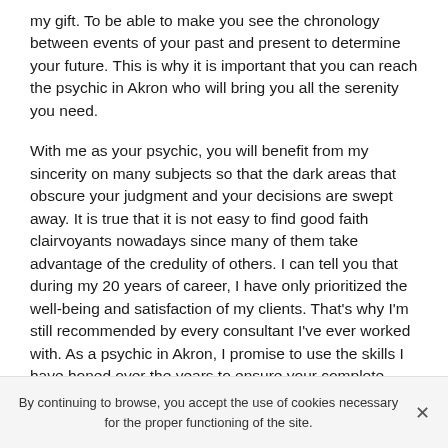my gift. To be able to make you see the chronology between events of your past and present to determine your future. This is why it is important that you can reach the psychic in Akron who will bring you all the serenity you need.
With me as your psychic, you will benefit from my sincerity on many subjects so that the dark areas that obscure your judgment and your decisions are swept away. It is true that it is not easy to find good faith clairvoyants nowadays since many of them take advantage of the credulity of others. I can tell you that during my 20 years of career, I have only prioritized the well-being and satisfaction of my clients. That's why I'm still recommended by every consultant I've ever worked with. As a psychic in Akron, I promise to use the skills I have honed over the years to ensure your complete satisfaction.
By continuing to browse, you accept the use of cookies necessary for the proper functioning of the site.